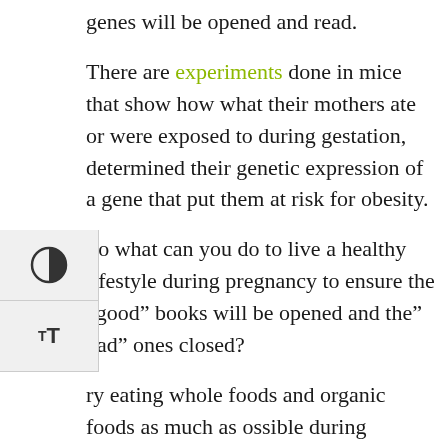genes will be opened and read.
There are experiments done in mice that show how what their mothers ate or were exposed to during gestation, determined their genetic expression of a gene that put them at risk for obesity.
So what can you do to live a healthy lifestyle during pregnancy to ensure the “good” books will be opened and the” bad” ones closed?
Try eating whole foods and organic foods as much as possible during pregnancy, with a rainbow of vegetables and fruits. This will increase phytonutrients or substances found in certain plants that are thought to prevent disease. By also eating whole, organic foods, you will cut down on pesticide and plastics exposure, which can interfere with epigenetics as well as a full-term pregnancy. A recent study at the University of